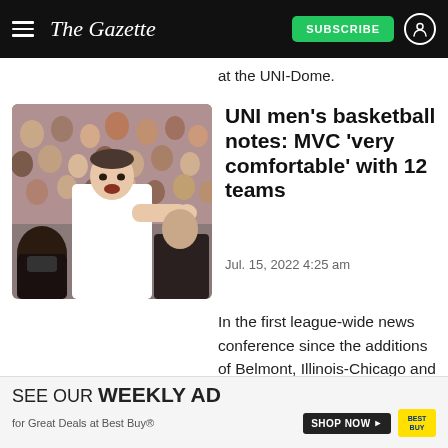The Gazette — Subscribe
at the UNI-Dome.
[Figure (photo): Basketball coach in white shirt pointing and shouting on the sideline, with crowd cutouts in the background]
UNI men's basketball notes: MVC 'very comfortable' with 12 teams
Jul. 15, 2022 4:25 am
In the first league-wide news conference since the additions of Belmont, Illinois-Chicago and Murray State became official on July 1 and the
SEE OUR WEEKLY AD for Great Deals at Best Buy®  SHOP NOW >